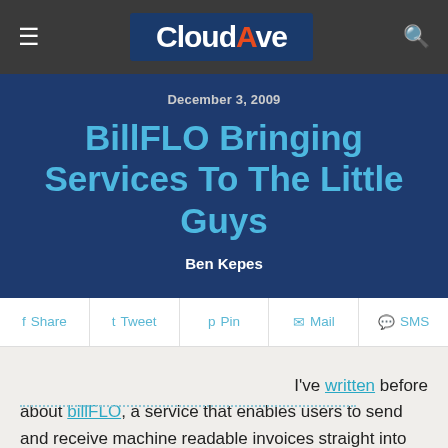CloudAve
December 3, 2009
BillFLO Bringing Services To The Little Guys
Ben Kepes
Share  Tweet  Pin  Mail  SMS
I've written before about billFLO, a service that enables users to send and receive machine readable invoices straight into their